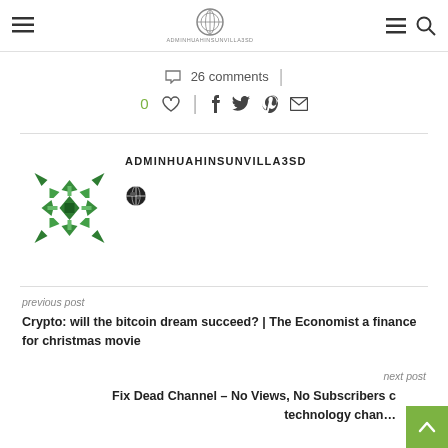ADMINHUAHINSUNVILLA3SD — site header nav bar
26 comments
0 ♡ | f t ® ✉
[Figure (logo): Green snowflake/geometric pattern logo for adminhuahinsunvilla3sd author avatar]
ADMINHUAHINSUNVILLA3SD
previous post
Crypto: will the bitcoin dream succeed? | The Economist a finance for christmas movie
next post
Fix Dead Channel – No Views, No Subscribers c technology chan…